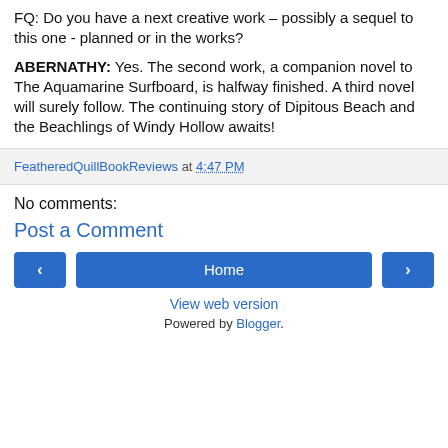FQ: Do you have a next creative work – possibly a sequel to this one - planned or in the works?
ABERNATHY: Yes. The second work, a companion novel to The Aquamarine Surfboard, is halfway finished. A third novel will surely follow. The continuing story of Dipitous Beach and the Beachlings of Windy Hollow awaits!
FeatheredQuillBookReviews at 4:47 PM
No comments:
Post a Comment
Home
View web version
Powered by Blogger.